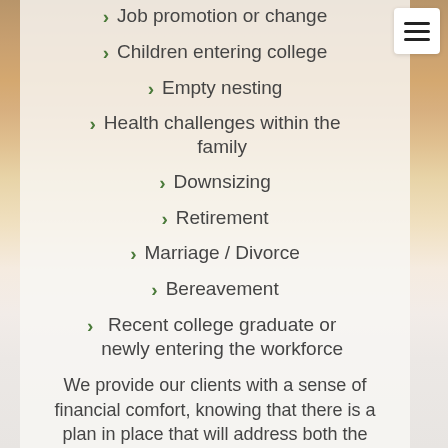Job promotion or change
Children entering college
Empty nesting
Health challenges within the family
Downsizing
Retirement
Marriage / Divorce
Bereavement
Recent college graduate or newly entering the workforce
We provide our clients with a sense of financial comfort, knowing that there is a plan in place that will address both the expected and unexpected life changes